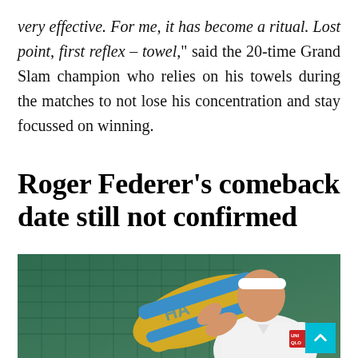very effective. For me, it has become a ritual. Lost point, first reflex – towel," said the 20-time Grand Slam champion who relies on his towels during the matches to not lose his concentration and stay focussed on winning.
Roger Federer's comeback date still not confirmed
[Figure (photo): Roger Federer wiping his face with a yellow and blue towel on a tennis court, wearing a white Uniqlo polo shirt and white headband]